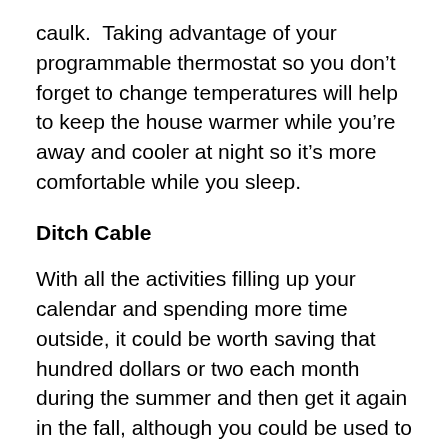caulk.  Taking advantage of your programmable thermostat so you don't forget to change temperatures will help to keep the house warmer while you're away and cooler at night so it's more comfortable while you sleep.
Ditch Cable
With all the activities filling up your calendar and spending more time outside, it could be worth saving that hundred dollars or two each month during the summer and then get it again in the fall, although you could be used to not having it by then.  For around $10 a month you can get a streaming service so you can at least still catch up on all the best shows for the next time you feel like sitting around it...